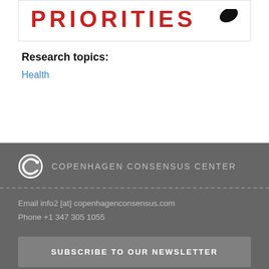[Figure (logo): PRIORITIES logo with large red uppercase text and a black swoosh/checkmark icon to the right]
Research topics:
Health
COPENHAGEN CONSENSUS CENTER
Email info2 [at] copenhagenconsensus.com
Phone +1 347 305 1055
SUBSCRIBE TO OUR NEWSLETTER
Links